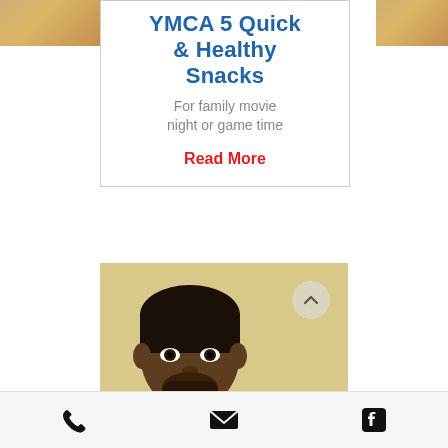YMCA 5 Quick & Healthy Snacks
For family movie night or game time
Read More
[Figure (photo): Photo of a man with beard in front of a light yellow/beige wall, with a circular back-to-top button visible in the upper right]
[Figure (other): Bottom navigation bar with phone, email, and Facebook icons]